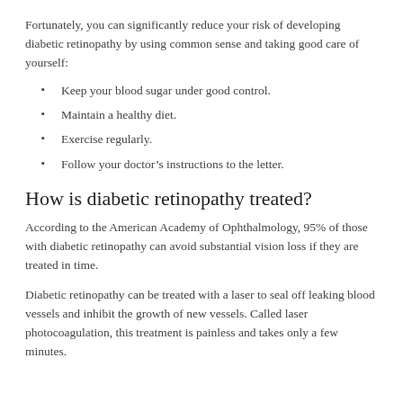Fortunately, you can significantly reduce your risk of developing diabetic retinopathy by using common sense and taking good care of yourself:
Keep your blood sugar under good control.
Maintain a healthy diet.
Exercise regularly.
Follow your doctor’s instructions to the letter.
How is diabetic retinopathy treated?
According to the American Academy of Ophthalmology, 95% of those with diabetic retinopathy can avoid substantial vision loss if they are treated in time.
Diabetic retinopathy can be treated with a laser to seal off leaking blood vessels and inhibit the growth of new vessels. Called laser photocoagulation, this treatment is painless and takes only a few minutes.